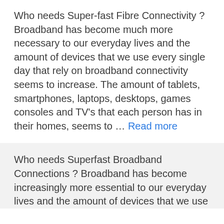Who needs Super-fast Fibre Connectivity ? Broadband has become much more necessary to our everyday lives and the amount of devices that we use every single day that rely on broadband connectivity seems to increase. The amount of tablets, smartphones, laptops, desktops, games consoles and TV's that each person has in their homes, seems to … Read more
Who needs Superfast Broadband Connections ? Broadband has become increasingly more essential to our everyday lives and the amount of devices that we use